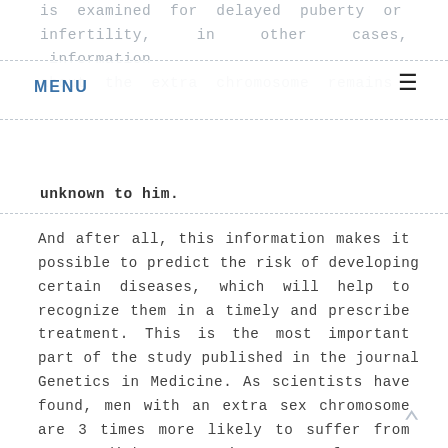MENU  ≡
unknown to him.
And after all, this information makes it possible to predict the risk of developing certain diseases, which will help to recognize them in a timely and prescribe treatment. This is the most important part of the study published in the journal Genetics in Medicine. As scientists have found, men with an extra sex chromosome are 3 times more likely to suffer from type 2 diabetes, 6 times more often — from venous thrombosis. They are 3-4